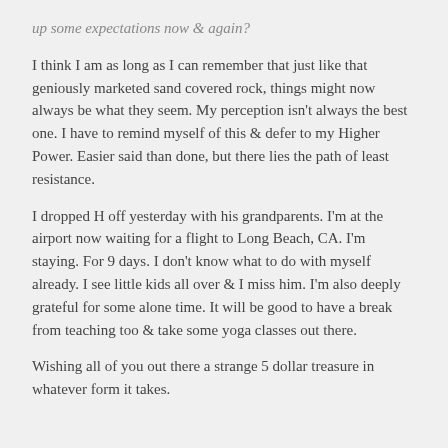up some expectations now & again?
I think I am as long as I can remember that just like that geniously marketed sand covered rock, things might now always be what they seem. My perception isn't always the best one. I have to remind myself of this & defer to my Higher Power. Easier said than done, but there lies the path of least resistance.
I dropped H off yesterday with his grandparents. I'm at the airport now waiting for a flight to Long Beach, CA. I'm staying. For 9 days. I don't know what to do with myself already. I see little kids all over & I miss him. I'm also deeply grateful for some alone time. It will be good to have a break from teaching too & take some yoga classes out there.
Wishing all of you out there a strange 5 dollar treasure in whatever form it takes.